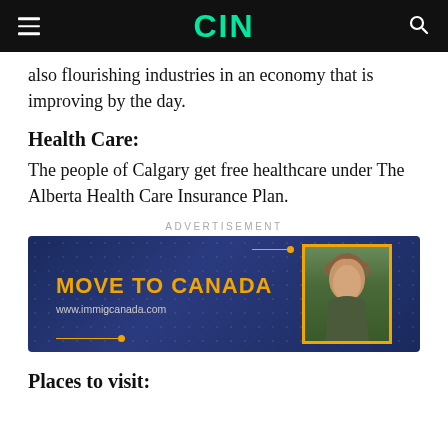CIN
also flourishing industries in an economy that is improving by the day.
Health Care:
The people of Calgary get free healthcare under The Alberta Health Care Insurance Plan.
[Figure (other): Advertisement banner for immigcanada.com with text 'MOVE TO CANADA' and 'www.immigcanada.com', featuring a photo of a woman with curly hair on a dark blue background with gold accents.]
Places to visit: